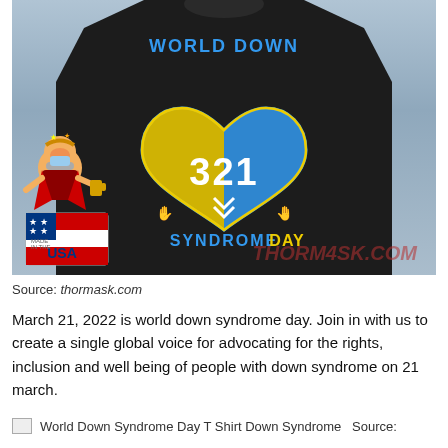[Figure (photo): Person wearing a black t-shirt with 'World Down Syndrome Day 321' design featuring a blue and yellow heart graphic. A cartoon character wearing a mask and a 'Made in the USA' badge are visible in the lower left. A 'thormask.com' watermark appears in red in the lower right.]
Source: thormask.com
March 21, 2022 is world down syndrome day. Join in with us to create a single global voice for advocating for the rights, inclusion and well being of people with down syndrome on 21 march.
World Down Syndrome Day T Shirt Down Syndrome  Source: